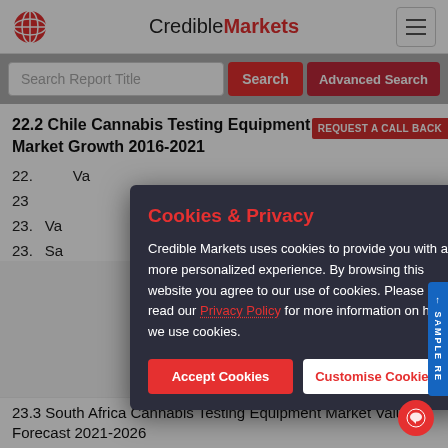CredibleMarkets
Search Report Title
22.2 Chile Cannabis Testing Equipment Sales and Market Growth 2016-2021
22. [partial] Va[lue...]
23 [partial]
23. [partial] Va[lue...]
23. [partial] Sa[les...]
23.3 South Africa Cannabis Testing Equipment Market Value Forecast 2021-2026
Cookies & Privacy

Credible Markets uses cookies to provide you with a more personalized experience. By browsing this website you agree to our use of cookies. Please read our Privacy Policy for more information on how we use cookies.
Accept Cookies
Customise Cookies